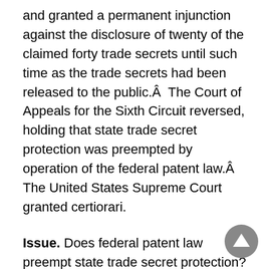and granted a permanent injunction against the disclosure of twenty of the claimed forty trade secrets until such time as the trade secrets had been released to the public.Â  The Court of Appeals for the Sixth Circuit reversed, holding that state trade secret protection was preempted by operation of the federal patent law.Â  The United States Supreme Court granted certiorari.
Issue. Does federal patent law preempt state trade secret protection?
Held. (Burger, C.J.)Â  No.Â  Federal patent law does not preempt state trade secret protection.Â  States may not conflict with the operation of laws, in this area passed by congress, when regulating